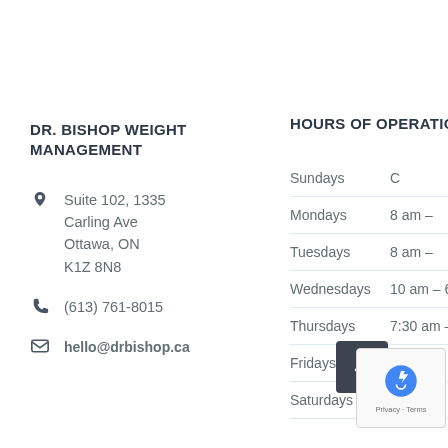DR. BISHOP WEIGHT MANAGEMENT
Suite 102, 1335 Carling Ave Ottawa, ON K1Z 8N8
(613) 761-8015
hello@drbishop.ca
HOURS OF OPERATION
| Day | Hours |
| --- | --- |
| Sundays | C |
| Mondays | 8 am – |
| Tuesdays | 8 am – |
| Wednesdays | 10 am – 6:3 |
| Thursdays | 7:30 am – |
| Fridays |  |
| Saturdays |  |